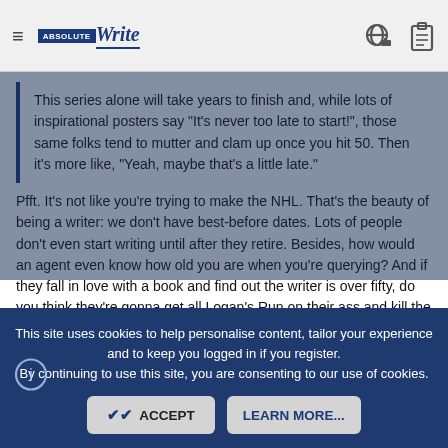Absolute Write
This series alone will take years to finish and, while lots of inspirational posters say "It's never too late to start!", those same folks tend to mutter and clam up once you hit 50. Then it's more like, "Yeah, maybe that's a little late."
Pfft. It's not like you're trying to make the NHL. That's the beauty of being a writer: we don't have best-before dates. Lots of people don't even start writing until after they retire. Besides, how would an agent even know how old you are when you're querying? And if they fall in love with a book and find out the writer is over fifty, do you think they're gonna get all Logan's Run on their ass and kill the project?
Elenitsa, Cerasus, frimble3 and 6 others
This site uses cookies to help personalise content, tailor your experience and to keep you logged in if you register. By continuing to use this site, you are consenting to our use of cookies.